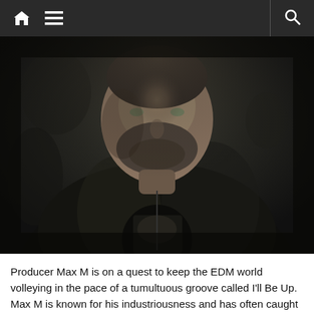Navigation bar with home, menu, and search icons
[Figure (photo): Black and white portrait photograph of a heavyset man with a short beard wearing a black leather jacket over a graphic t-shirt, photographed against a dark textured background]
Producer Max M is on a quest to keep the EDM world volleying in the pace of a tumultuous groove called I'll Be Up. Max M is known for his industriousness and has often caught the eye of news outlets as he